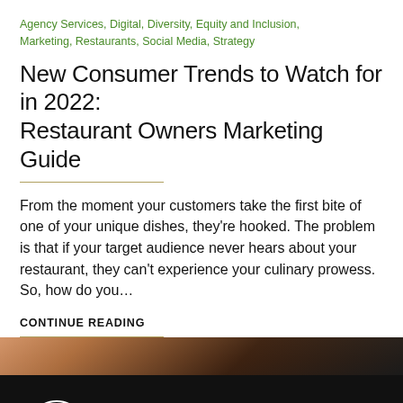Agency Services, Digital, Diversity, Equity and Inclusion, Marketing, Restaurants, Social Media, Strategy
New Consumer Trends to Watch for in 2022: Restaurant Owners Marketing Guide
From the moment your customers take the first bite of one of your unique dishes, they're hooked. The problem is that if your target audience never hears about your restaurant, they can't experience your culinary prowess. So, how do you...
CONTINUE READING
[Figure (photo): Dark colored photo strip showing restaurant ambiance]
[Figure (infographic): Black subscribe bar with light bulb head icon and text: SUBSCRIBE FOR INDUSTRY INSIGHTS]